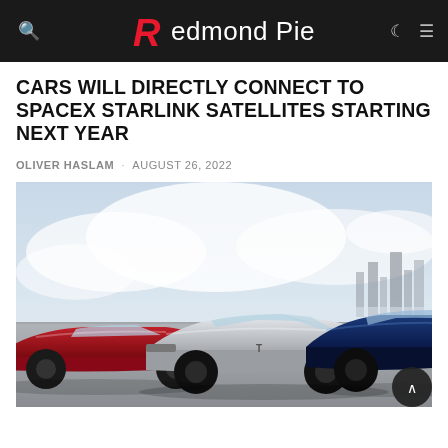Redmond Pie
CARS WILL DIRECTLY CONNECT TO SPACEX STARLINK SATELLITES STARTING NEXT YEAR
OLIVER HASLAM · AUGUST 26, 2022
[Figure (photo): Three Tesla electric cars (red, silver/white, and blue) parked side by side on a road with a cloudy sky and city skyline in the background.]